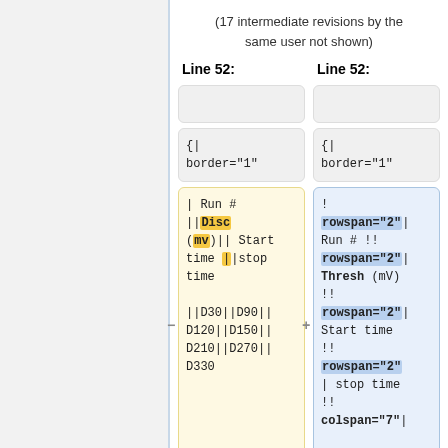(17 intermediate revisions by the same user not shown)
Line 52:
Line 52:
{
 border="1"
{
 border="1"
| Run #
||Disc (mv)|| Start time ||stop time
||D30||D90||D120||D150||D210||D270||D330
!
rowspan="2"|
Run # !!
rowspan="2"|
Thresh (mV)
!!
rowspan="2"|
Start time
!!
rowspan="2"
| stop time
!!
colspan="7"|